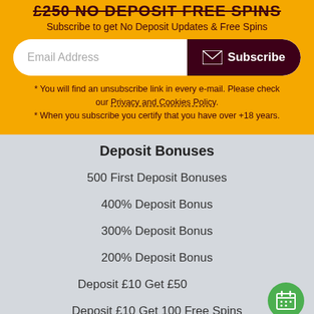£250 NO DEPOSIT FREE SPINS
Subscribe to get No Deposit Updates & Free Spins
Email Address  Subscribe
* You will find an unsubscribe link in every e-mail. Please check our Privacy and Cookies Policy.
* When you subscribe you certify that you have over +18 years.
Deposit Bonuses
500 First Deposit Bonuses
400% Deposit Bonus
300% Deposit Bonus
200% Deposit Bonus
Deposit £10 Get £50
Deposit £10 Get 100 Free Spins